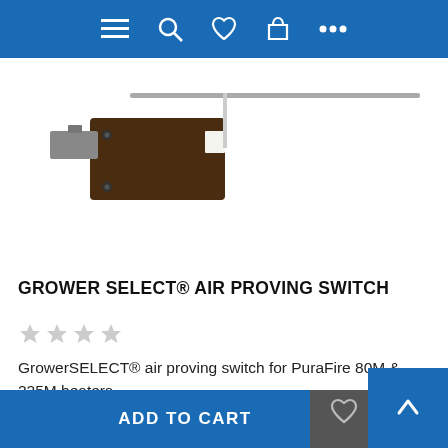Navigation bar with menu, search, wishlist, cart, and more icons
[Figure (photo): Product photo of a GrowerSELECT air proving switch — a small electronic switch component with brown/dark casing and metal arm, photographed against a white background]
GROWER SELECT® AIR PROVING SWITCH
[Figure (other): 5-star rating widget showing 4 empty/grey stars (no rating)]
GrowerSELECT® air proving switch for PuraFire 80M & 225M heaters.
$24.48
ADD TO CART